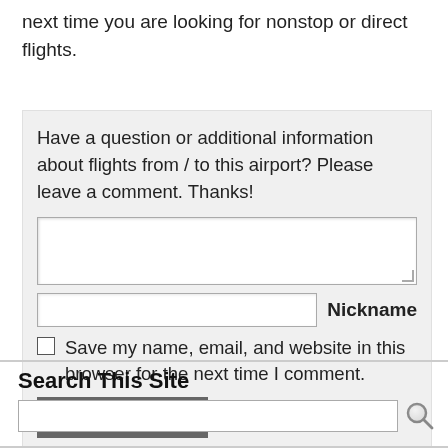next time you are looking for nonstop or direct flights.
Have a question or additional information about flights from / to this airport? Please leave a comment. Thanks!
[Figure (screenshot): Comment form with textarea, nickname input field, save my name checkbox, and Post Comment button]
Search This Site
[Figure (screenshot): Search input field with magnifying glass icon]